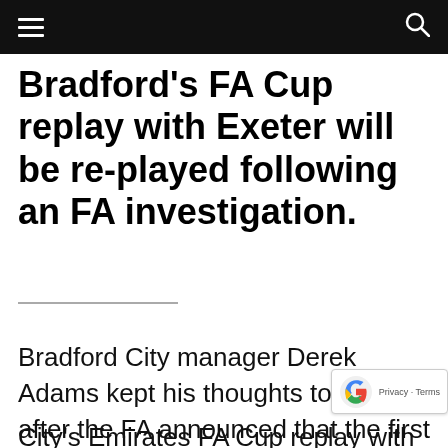≡  🔍
Bradford's FA Cup replay with Exeter will be re-played following an FA investigation.
Bradford City manager Derek Adams kept his thoughts to himself, after the FA announced that the first round tie must be replayed.
City's Emirates FA Cup replay with